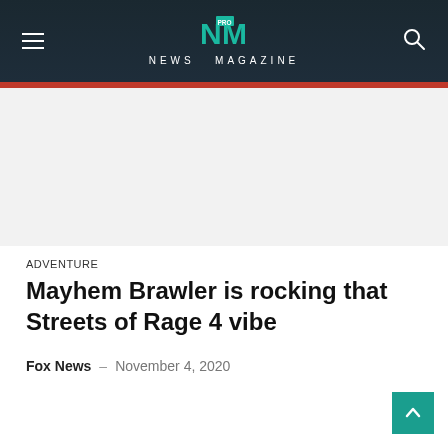NEWS MAGAZINE
[Figure (screenshot): Article hero image placeholder (light gray)]
ADVENTURE
Mayhem Brawler is rocking that Streets of Rage 4 vibe
Fox News – November 4, 2020